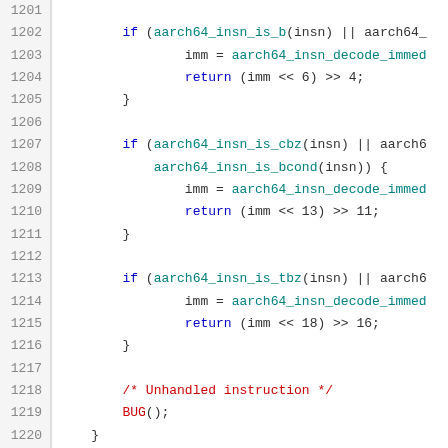[Figure (screenshot): Source code listing showing lines 1201-1222 of a C file with aarch64 instruction handling code. Lines shown include conditional if statements checking aarch64_insn_is_b, aarch64_insn_is_cbz, aarch64_insn_is_tbz, imm decoding, return statements with bit shifts, a BUG() call, and a comment about unhandled instructions.]